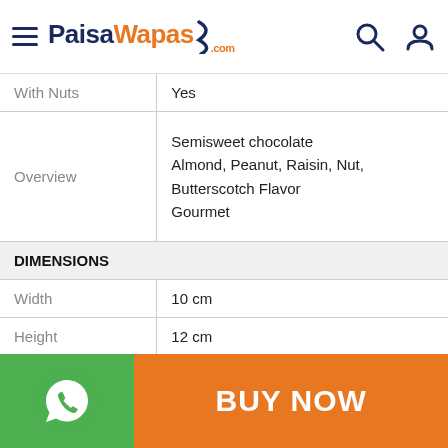PaisaWapas.com
| Attribute | Value |
| --- | --- |
| With Nuts | Yes |
| Overview | Semisweet chocolate
Almond, Peanut, Raisin, Nut,
Butterscotch Flavor
Gourmet |
| DIMENSIONS |  |
| Width | 10 cm |
| Height | 12 cm |
| Depth | 10 cm |
| Weight | 0.45 kg |
| IMPORTANT NOTE |  |